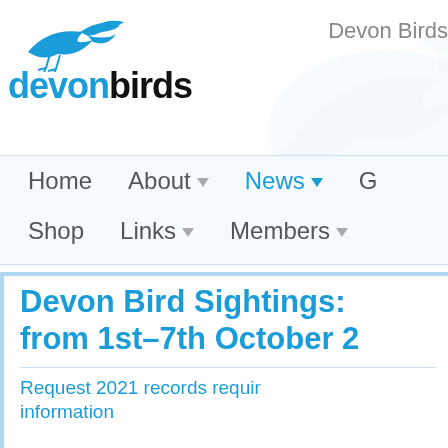[Figure (logo): Devon Birds logo with flying bird silhouette above the text 'devonbirds' in blue and black]
Devon Birds
Home  About▼  News▼  G  Shop  Links▼  Members▼
Devon Bird Sightings: from 1st–7th October 2
Request 2021 records requir information